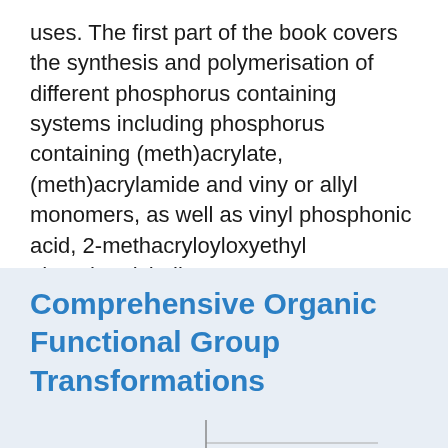uses. The first part of the book covers the synthesis and polymerisation of different phosphorus containing systems including phosphorus containing (meth)acrylate, (meth)acrylamide and viny or allyl monomers, as well as vinyl phosphonic acid, 2-methacryloyloxyethyl phosphorylcholine, poly(phosphoesters)and
Comprehensive Organic Functional Group Transformations
[Figure (other): Partial view of a book cover or image at the bottom of the page, showing a horizontal line element]